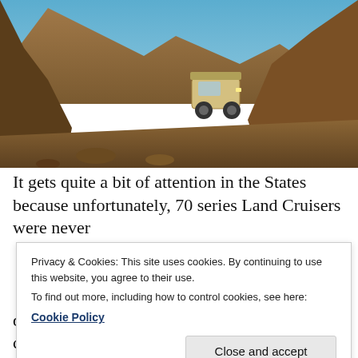[Figure (photo): An off-road 4x4 vehicle (Land Cruiser 70 series) navigating a rocky mountain trail between rugged brown cliffs under a blue sky.]
It gets quite a bit of attention in the States because unfortunately, 70 series Land Cruisers were never
Privacy & Cookies: This site uses cookies. By continuing to use this website, you agree to their use.
To find out more, including how to control cookies, see here:
Cookie Policy
down bush taxi with roll up windows, no carpet and